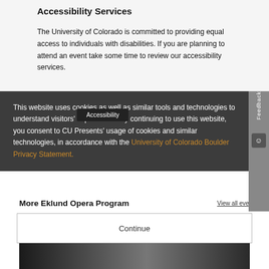Accessibility Services
The University of Colorado is committed to providing equal access to individuals with disabilities. If you are planning to attend an event take some time to review our accessibility services.
This website uses cookies as well as similar tools and technologies to understand visitors' experiences. By continuing to use this website, you consent to CU Presents' usage of cookies and similar technologies, in accordance with the University of Colorado Boulder Privacy Statement.
More Eklund Opera Program
View all events
Continue
[Figure (photo): Dark photo of opera performers at bottom of page]